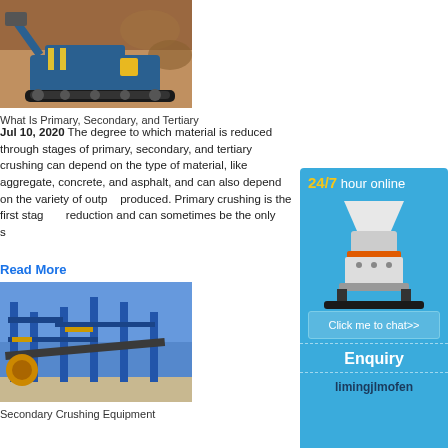[Figure (photo): Blue mobile jaw crusher machine working in rocky terrain with reddish-brown rock background]
What Is Primary, Secondary, and Tertiary
Jul 10, 2020  The degree to which material is reduced through stages of primary, secondary, and tertiary crushing can depend on the type of material, like aggregate, concrete, and asphalt, and can also depend on the variety of output produced. Primary crushing is the first stage reduction and can sometimes be the only s
Read More
[Figure (photo): Industrial secondary crushing equipment facility with blue metal framework structures and conveyor systems under clear blue sky]
Secondary Crushing Equipment
[Figure (illustration): Sidebar advertisement: 24/7 hour online chat widget with cone crusher machine image, Click me to chat button, Enquiry section, and limingjlmofen branding on blue background]